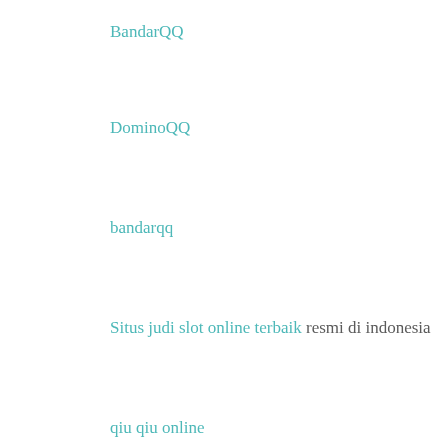BandarQQ
DominoQQ
bandarqq
Situs judi slot online terbaik resmi di indonesia
qiu qiu online
poker qq
dominoqq online
judi slot
judi bola
bola88
dewa nonton